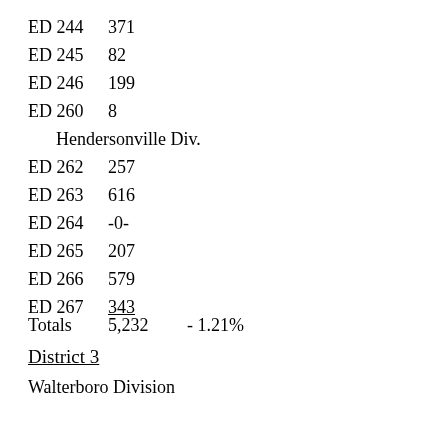ED 244    371
ED 245    82
ED 246    199
ED 260    8
Hendersonville Div.
ED 262    257
ED 263    616
ED 264    -0-
ED 265    207
ED 266    579
ED 267    343
Totals    5,232    - 1.21%
District 3
Walterboro Division